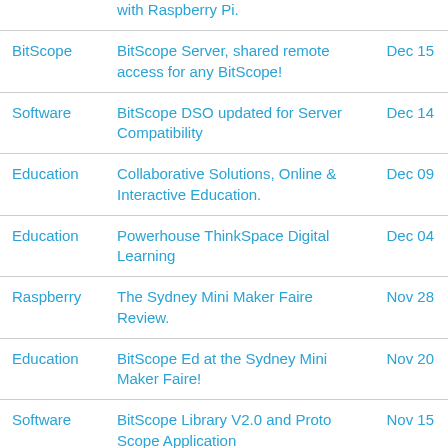| Category | Title | Date |
| --- | --- | --- |
|  | with Raspberry Pi. |  |
| BitScope | BitScope Server, shared remote access for any BitScope! | Dec 15 |
| Software | BitScope DSO updated for Server Compatibility | Dec 14 |
| Education | Collaborative Solutions, Online & Interactive Education. | Dec 09 |
| Education | Powerhouse ThinkSpace Digital Learning | Dec 04 |
| Raspberry | The Sydney Mini Maker Faire Review. | Nov 28 |
| Education | BitScope Ed at the Sydney Mini Maker Faire! | Nov 20 |
| Software | BitScope Library V2.0 and Proto Scope Application | Nov 15 |
| Software | BitScope DSO, Logic, Chart, Meter | Nov 12 |